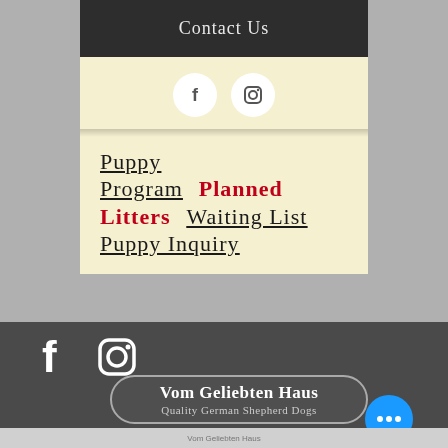Contact Us
[Figure (other): Facebook and Instagram social icons (white circles on cream background)]
Puppy Program
Planned Litters
Waiting List
Puppy Inquiry
[Figure (other): Facebook and Instagram social icons (white outlines on dark background)]
[Figure (logo): Vom Geliebten Haus - Quality German Shepherd Dogs logo in pill/badge shape]